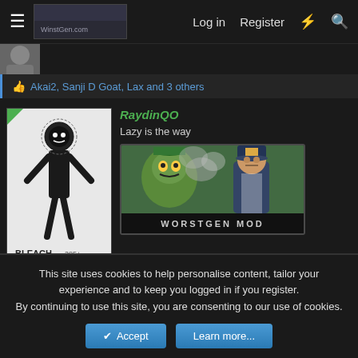Log in  Register
Akai2, Sanji D Goat, Lax and 3 others
RaydinQO
Lazy is the way
WORSTGEN MOD
[Figure (screenshot): Bleach manga cover art in black and white showing a skeletal figure with 'BLEACH' text and 'Vice It' text at bottom]
[Figure (screenshot): WORSTGEN MOD banner image showing anime characters with 'WORSTGEN MOD' text]
Dec 13, 2021
#3
This site uses cookies to help personalise content, tailor your experience and to keep you logged in if you register.
By continuing to use this site, you are consenting to our use of cookies.
Accept  Learn more...